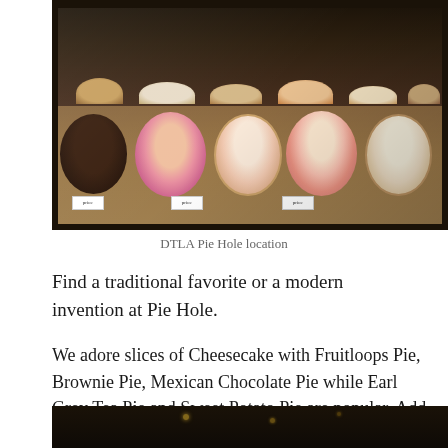[Figure (photo): Interior display case of Pie Hole bakery showing multiple whole pies and pie slices arranged on shelves, including various flavors with decorative toppings]
DTLA Pie Hole location
Find a traditional favorite or a modern invention at Pie Hole.
We adore slices of Cheesecake with Fruitloops Pie, Brownie Pie, Mexican Chocolate Pie while Earl Grey Tea Pie and Sweet Potato Pie are popular. Add a scoop of ice cream or whipped cream to your order.
[Figure (photo): Dimly lit interior or exterior of Pie Hole restaurant at night with small lights visible in the background]